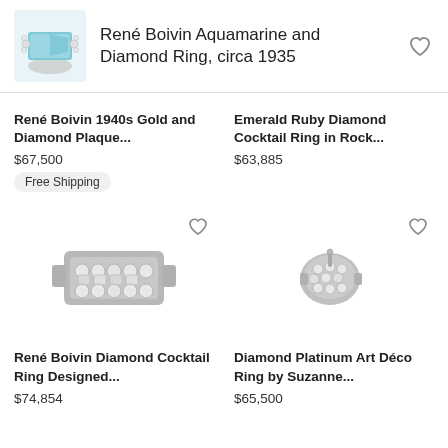René Boivin Aquamarine and Diamond Ring, circa 1935
René Boivin 1940s Gold and Diamond Plaque...
$67,500
Free Shipping
Emerald Ruby Diamond Cocktail Ring in Rock...
$63,885
[Figure (photo): Silver/platinum diamond cocktail ring with rows of round diamonds]
René Boivin Diamond Cocktail Ring Designed...
$74,854
[Figure (photo): Small platinum diamond brooch or ring piece in Art Deco style]
Diamond Platinum Art Déco Ring by Suzanne...
$65,500